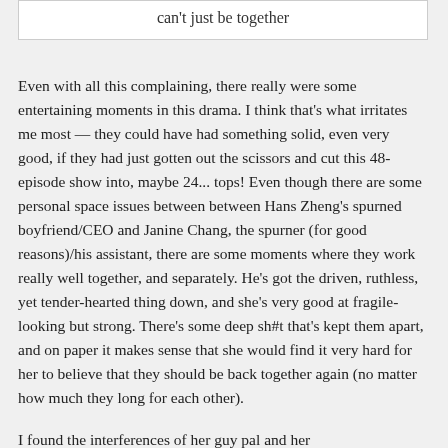can't just be together
Even with all this complaining, there really were some entertaining moments in this drama. I think that's what irritates me most — they could have had something solid, even very good, if they had just gotten out the scissors and cut this 48-episode show into, maybe 24... tops! Even though there are some personal space issues between between Hans Zheng's spurned boyfriend/CEO and Janine Chang, the spurner (for good reasons)/his assistant, there are some moments where they work really well together, and separately. He's got the driven, ruthless, yet tender-hearted thing down, and she's very good at fragile-looking but strong. There's some deep sh#t that's kept them apart, and on paper it makes sense that she would find it very hard for her to believe that they should be back together again (no matter how much they long for each other).
I found the interferences of her guy pal and her